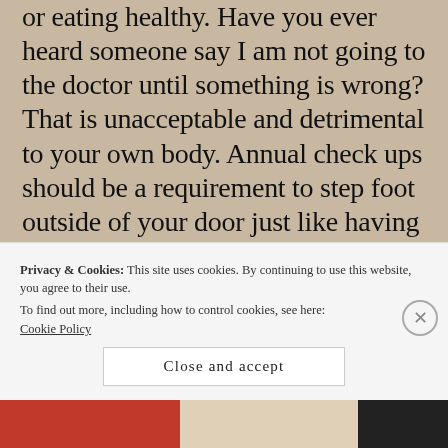or eating healthy. Have you ever heard someone say I am not going to the doctor until something is wrong? That is unacceptable and detrimental to your own body. Annual check ups should be a requirement to step foot outside of your door just like having an inspection sticker is required yearly to drive your car legally on the road. We have to do better. And by better, we have to realize that health is your lifeline to everlasting life, to see your children grow, to partake in physical
Privacy & Cookies: This site uses cookies. By continuing to use this website, you agree to their use.
To find out more, including how to control cookies, see here: Cookie Policy
Close and accept